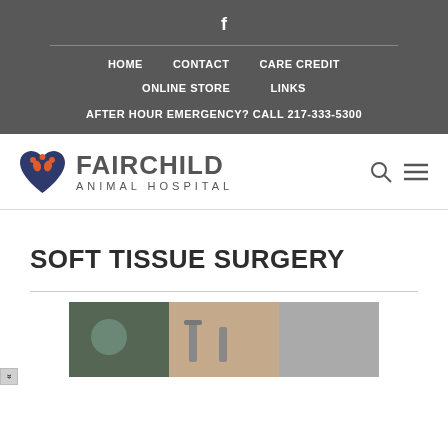f
HOME   CONTACT   CARE CREDIT   ONLINE STORE   LINKS   AFTER HOUR EMERGENCY? CALL 217-333-5300
[Figure (logo): Fairchild Animal Hospital logo with heart and paw print icon]
SOFT TISSUE SURGERY
[Figure (photo): Photo of veterinary surgery in progress]